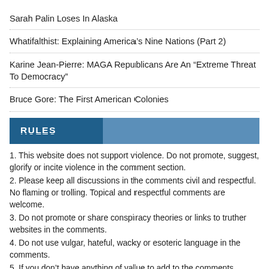Sarah Palin Loses In Alaska
Whatifalthist: Explaining America’s Nine Nations (Part 2)
Karine Jean-Pierre: MAGA Republicans Are An “Extreme Threat To Democracy”
Bruce Gore: The First American Colonies
RULES
1. This website does not support violence. Do not promote, suggest, glorify or incite violence in the comment section.
2. Please keep all discussions in the comments civil and respectful. No flaming or trolling. Topical and respectful comments are welcome.
3. Do not promote or share conspiracy theories or links to truther websites in the comments.
4. Do not use vulgar, hateful, wacky or esoteric language in the comments.
5. If you don’t have anything of value to add to the comments,